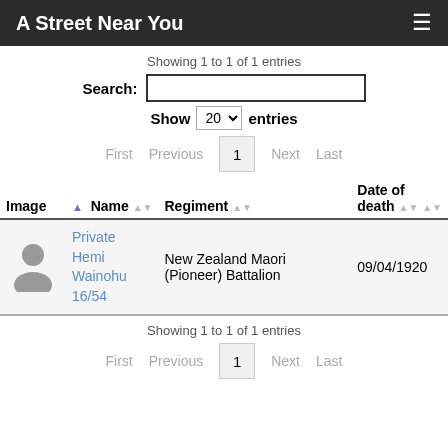A Street Near You
Showing 1 to 1 of 1 entries
Search:
Show 20 entries
First  Previous  1  Next  Last
| Image | Name | Regiment | Date of death |
| --- | --- | --- | --- |
| [avatar] | Private Hemi Wainohu 16/54 | New Zealand Maori (Pioneer) Battalion | 09/04/1920 |
Showing 1 to 1 of 1 entries
First  Previous  1  Next  Last